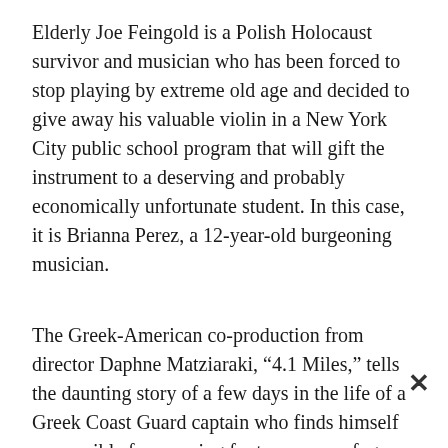Elderly Joe Feingold is a Polish Holocaust survivor and musician who has been forced to stop playing by extreme old age and decided to give away his valuable violin in a New York City public school program that will gift the instrument to a deserving and probably economically unfortunate student. In this case, it is Brianna Perez, a 12-year-old burgeoning musician.
The Greek-American co-production from director Daphne Matziaraki, “4.1 Miles,” tells the daunting story of a few days in the life of a Greek Coast Guard captain who finds himself responsible for rescuing far too many refugees from such war-torn places as Syria. These poor fugitives pay smugglers in Turkey, who send them on their way in boats too small or not seaworthy to make the